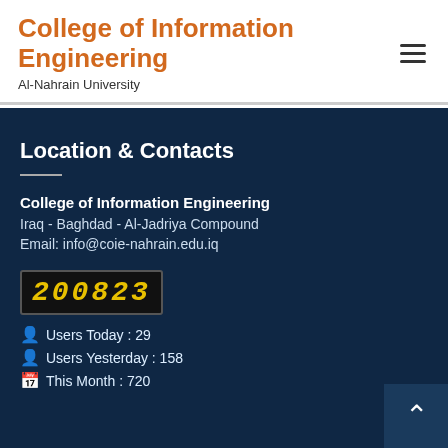College of Information Engineering
Al-Nahrain University
Location & Contacts
College of Information Engineering
Iraq - Baghdad - Al-Jadriya Compound
Email: info@coie-nahrain.edu.iq
[Figure (other): Digital counter display showing the number 200823]
Users Today : 29
Users Yesterday : 158
This Month : 720